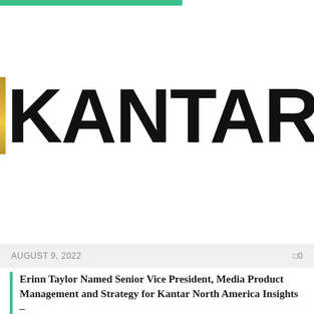[Figure (logo): Kantar logo: a vertical gold/yellow bar followed by the word KANTAR in large bold black sans-serif letters]
AUGUST 9, 2022    0
Erinn Taylor Named Senior Vice President, Media Product Management and Strategy for Kantar North America Insights –